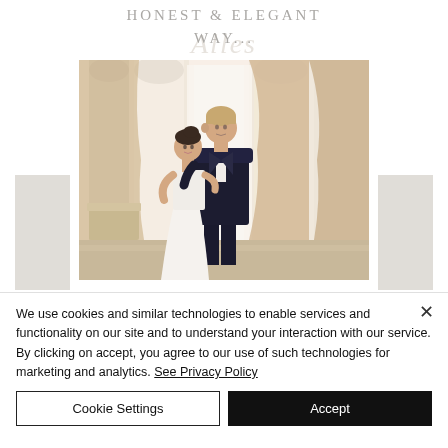HONEST & ELEGANT WAY...
[Figure (photo): A couple in elegant attire standing in an ornate room with tall windows and draped curtains. The groom is in a dark tuxedo and the bride is in a white dress, photographed in a bright, classical interior.]
We use cookies and similar technologies to enable services and functionality on our site and to understand your interaction with our service. By clicking on accept, you agree to our use of such technologies for marketing and analytics. See Privacy Policy